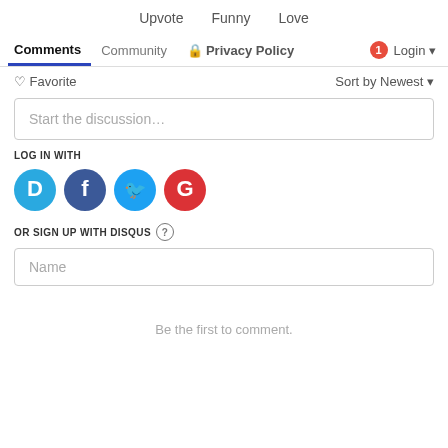Upvote   Funny   Love
Comments   Community   Privacy Policy   1   Login
Favorite
Sort by Newest
Start the discussion…
LOG IN WITH
[Figure (infographic): Four social login icon circles: Disqus (blue D), Facebook (dark blue F), Twitter (light blue bird), Google (red G)]
OR SIGN UP WITH DISQUS ?
Name
Be the first to comment.